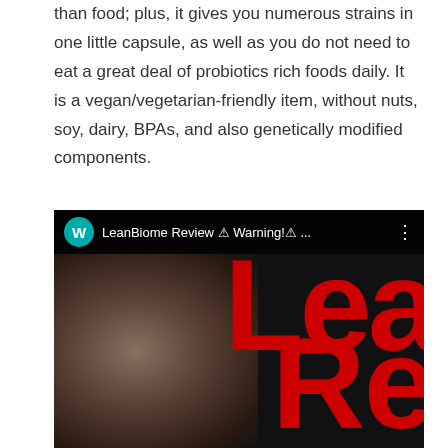than food; plus, it gives you numerous strains in one little capsule, as well as you do not need to eat a great deal of probiotics rich foods daily. It is a vegan/vegetarian-friendly item, without nuts, soy, dairy, BPAs, and also genetically modified components.
[Figure (screenshot): A video thumbnail or screenshot showing a man with glasses and a beard. A teal/cyan YouTube-style avatar circle with letter W is visible in the top-left. The text 'LeanBiome Review ⚠ Warning!⚠ ...' appears in the top bar. Large red bold letters 'Lea' and 'Re' are overlaid on the right side of the image against a dark background.]